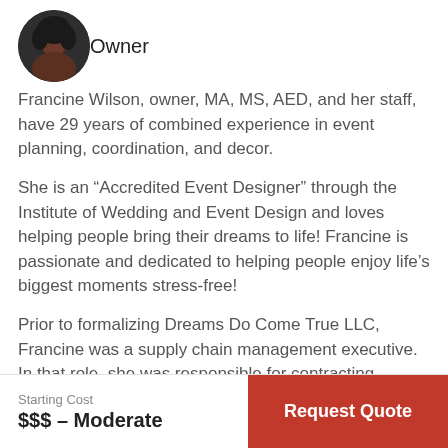[Figure (photo): Circular profile photo of a woman with curly hair]
Owner
Francine Wilson, owner, MA, MS, AED, and her staff, have 29 years of combined experience in event planning, coordination, and decor.
She is an “Accredited Event Designer” through the Institute of Wedding and Event Design and loves helping people bring their dreams to life! Francine is passionate and dedicated to helping people enjoy life’s biggest moments stress-free!
Prior to formalizing Dreams Do Come True LLC, Francine was a supply chain management executive. In that role, she was responsible for contracting, logistics, inventory
Starting Cost
$$$ – Moderate
Request Quote